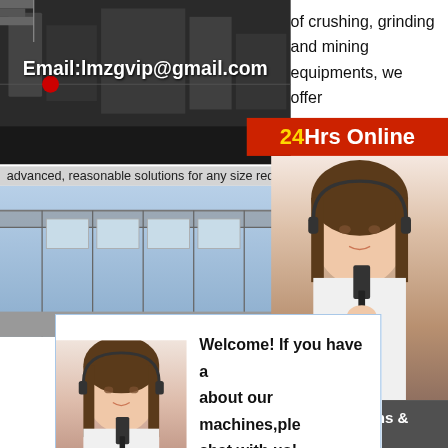[Figure (photo): Industrial machinery/crusher equipment photo with email overlay]
Email:lmzgvip@gmail.com
of crushing, grinding and mining equipments, we offer
24Hrs Online
advanced, reasonable solutions for any size reduction
[Figure (photo): Factory interior with metal framework structure]
[Figure (photo): Customer service agent with headset - right side widget]
Need questions & suggestion?
Chat Now
[Figure (photo): Customer service agent with headset - popup chat box]
Welcome! If you have a about our machines,ple chat with us!
Chat Now
[Figure (photo): Outdoor factory/industrial facility with trucks and cranes]
Email:lmzgvip@gmail.com
Industry Ecorporates GmbH is reliable partner for industries around the world. We source, procure and deliver